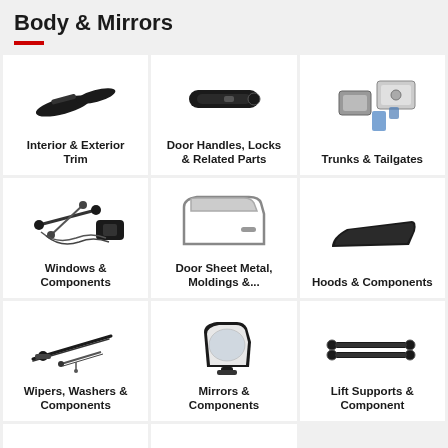Body & Mirrors
Interior & Exterior Trim
Door Handles, Locks & Related Parts
Trunks & Tailgates
Windows & Components
Door Sheet Metal, Moldings &...
Hoods & Components
Wipers, Washers & Components
Mirrors & Components
Lift Supports & Component